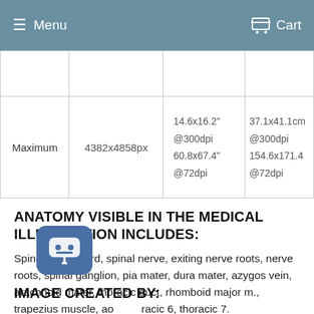Menu   Cart
|  |  |  |  |
| --- | --- | --- | --- |
|  |  |  |  |
| Maximum | 4382x4858px | 14.6x16.2"
@300dpi
60.8x67.4"
@72dpi | 37.1x41.1cm
@300dpi
154.6x171.4cm
@72dpi |
ANATOMY VISIBLE IN THE MEDICAL ILLUSTRATION INCLUDES:
Spine, spinal cord, spinal nerve, exiting nerve roots, nerve roots, spinal ganglion, pia mater, dura mater, azygos vein, arachnoid mater, thoracic duct, rhomboid major m., trapezius muscle, aorta, thoracic 6, thoracic 7.
IMAGE CREATED BY: